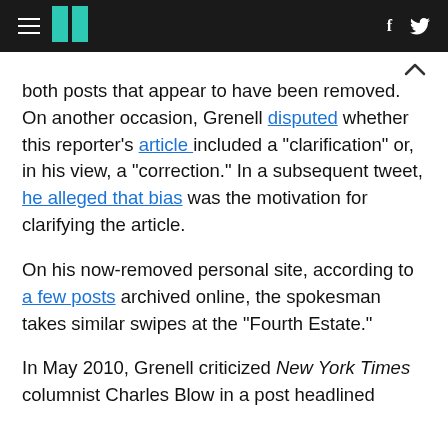HuffPost navigation header with hamburger menu, logo, Facebook and Twitter icons
both posts that appear to have been removed. On another occasion, Grenell disputed whether this reporter's article included a "clarification" or, in his view, a "correction." In a subsequent tweet, he alleged that bias was the motivation for clarifying the article.
On his now-removed personal site, according to a few posts archived online, the spokesman takes similar swipes at the "Fourth Estate."
In May 2010, Grenell criticized New York Times columnist Charles Blow in a post headlined